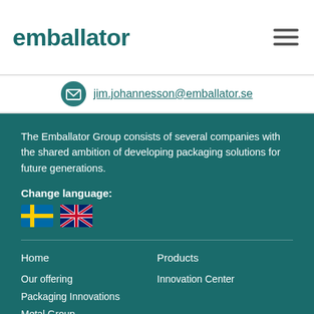emballator
jim.johannesson@emballator.se
The Emballator Group consists of several companies with the shared ambition of developing packaging solutions for future generations.
Change language:
[Figure (illustration): Swedish and UK flag icons for language selection]
Home
Products
Our offering
Innovation Center
Packaging Innovations
Metal Group
Packaging UK
Business concept